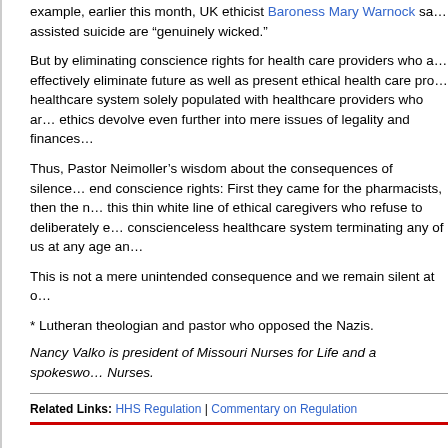example, earlier this month, UK ethicist Baroness Mary Warnock sa... assisted suicide are "genuinely wicked."
But by eliminating conscience rights for health care providers who a... effectively eliminate future as well as present ethical health care pro... healthcare system solely populated with healthcare providers who ar... ethics devolve even further into mere issues of legality and finances...
Thus, Pastor Neimoller's wisdom about the consequences of silence ... end conscience rights: First they came for the pharmacists, then the n... this thin white line of ethical caregivers who refuse to deliberately e... conscienceless healthcare system terminating any of us at any age an...
This is not a mere unintended consequence and we remain silent at o...
* Lutheran theologian and pastor who opposed the Nazis.
Nancy Valko is president of Missouri Nurses for Life and a spokeswo... Nurses.
Related Links: HHS Regulation | Commentary on Regulation